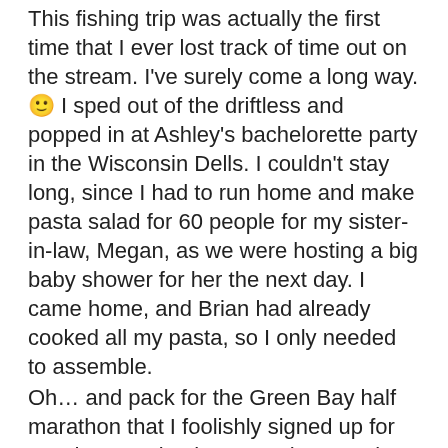This fishing trip was actually the first time that I ever lost track of time out on the stream. I've surely come a long way. 🙂 I sped out of the driftless and popped in at Ashley's bachelorette party in the Wisconsin Dells. I couldn't stay long, since I had to run home and make pasta salad for 60 people for my sister-in-law, Megan, as we were hosting a big baby shower for her the next day. I came home, and Brian had already cooked all my pasta, so I only needed to assemble.
Oh… and pack for the Green Bay half marathon that I foolishly signed up for Sunday morning between that meeting and the baby shower.
I slept a few hours, and Brian loaded me in the car with all my race gear and baby shower stuff, plus shower accessories and a change of clothes. I met up with Carmel, and we ran the race together.